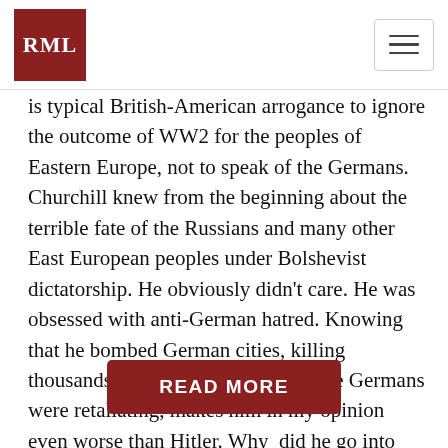RML
is typical British-American arrogance to ignore the outcome of WW2 for the peoples of Eastern Europe, not to speak of the Germans. Churchill knew from the beginning about the terrible fate of the Russians and many other East European peoples under Bolshevist dictatorship. He obviously didn't care. He was obsessed with anti-German hatred. Knowing that he bombed German cities, killing thousands of civilians long before the Germans were retaliating, makes him in my opinion even worse than Hitler. Why  did he go into alliance with Stalin against the Germans?…
READ MORE